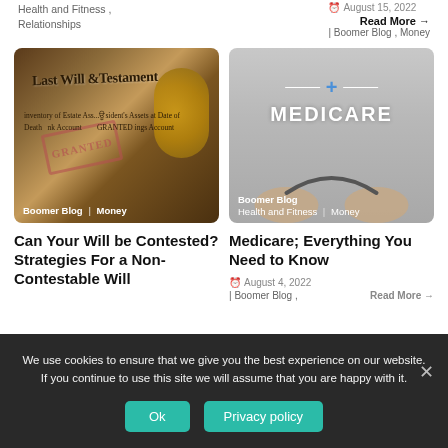Health and Fitness , Relationships
August 15, 2022
Boomer Blog , Money
Read More →
[Figure (photo): A last will and testament document with keys and coins on top, with a GRANTED stamp visible]
Boomer Blog | Money
Can Your Will be Contested? Strategies For a Non-Contestable Will
[Figure (photo): Hands holding a stethoscope with MEDICARE text overlay on gray background]
Boomer Blog
Health and Fitness | Money
Medicare; Everything You Need to Know
August 4, 2022
Boomer Blog ,
Read More →
We use cookies to ensure that we give you the best experience on our website. If you continue to use this site we will assume that you are happy with it.